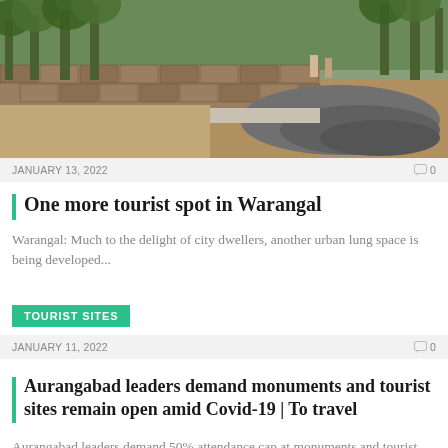[Figure (photo): Construction site with a long stone wall being built, trees in background, rubble and rocks on right side, workers visible]
JANUARY 13, 2022    0
One more tourist spot in Warangal
Warangal: Much to the delight of city dwellers, another urban lung space is being developed...
TOURIST SITES
JANUARY 11, 2022    0
Aurangabad leaders demand monuments and tourist sites remain open amid Covid-19 | To travel
Aurangabad leaders demand 50% attendance cap at monuments and tourist spots instead of full closure...